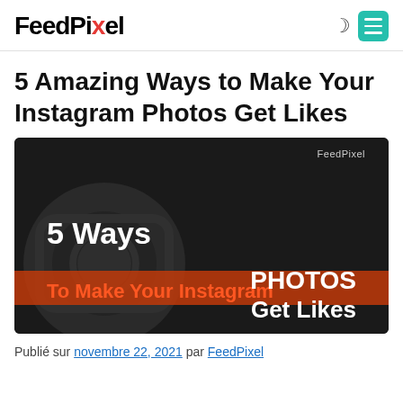FeedPixel
5 Amazing Ways to Make Your Instagram Photos Get Likes
[Figure (illustration): Dark-themed promotional graphic with text '5 Ways To Make Your Instagram PHOTOS Get Likes' and FeedPixel branding. Features Instagram camera icon silhouette in background.]
Publié sur novembre 22, 2021 par FeedPixel